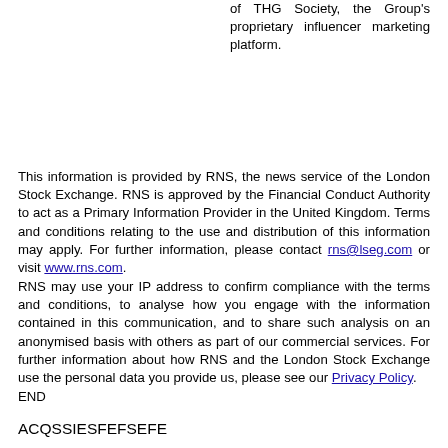of THG Society, the Group's proprietary influencer marketing platform.
This information is provided by RNS, the news service of the London Stock Exchange. RNS is approved by the Financial Conduct Authority to act as a Primary Information Provider in the United Kingdom. Terms and conditions relating to the use and distribution of this information may apply. For further information, please contact rns@lseg.com or visit www.rns.com.
RNS may use your IP address to confirm compliance with the terms and conditions, to analyse how you engage with the information contained in this communication, and to share such analysis on an anonymised basis with others as part of our commercial services. For further information about how RNS and the London Stock Exchange use the personal data you provide us, please see our Privacy Policy.
END
ACQSSIESFEFSEFE